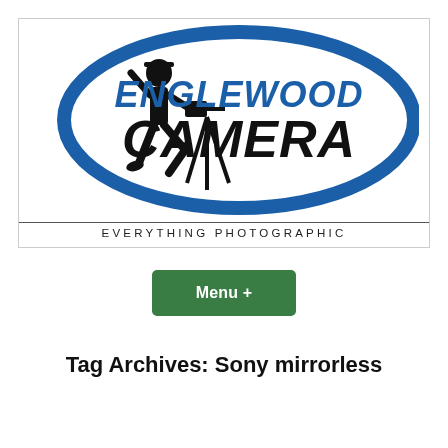[Figure (logo): Englewood Camera logo with blue oval, photographer silhouette on tripod, text ENGLEWOOD CAMERA and tagline EVERYTHING PHOTOGRAPHIC]
Menu +
Tag Archives: Sony mirrorless